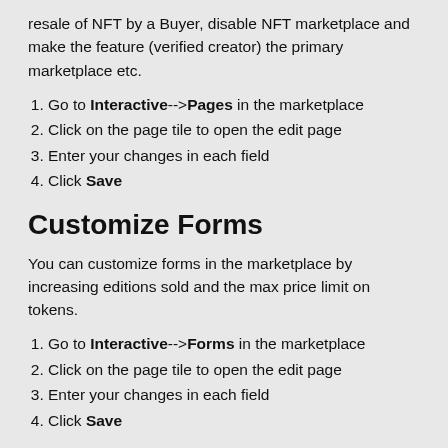resale of NFT by a Buyer, disable NFT marketplace and make the feature (verified creator) the primary marketplace etc.
Go to Interactive-->Pages in the marketplace
Click on the page tile to open the edit page
Enter your changes in each field
Click Save
Customize Forms
You can customize forms in the marketplace by increasing editions sold and the max price limit on tokens.
Go to Interactive-->Forms in the marketplace
Click on the page tile to open the edit page
Enter your changes in each field
Click Save